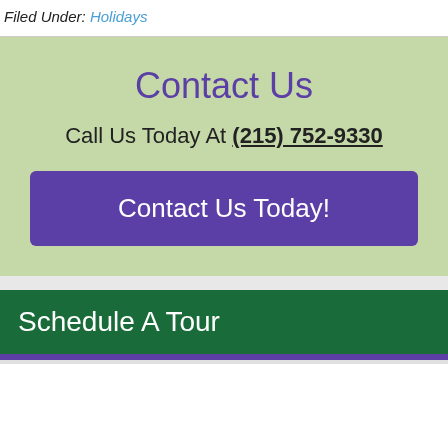Filed Under: Holidays
Contact Us
Call Us Today At (215) 752-9330
Contact Us Today!
Schedule A Tour